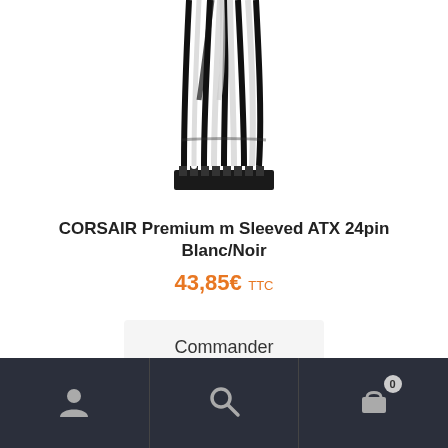[Figure (photo): Black and white sleeved ATX 24-pin cable bundle, partially cropped at top of page]
CORSAIR Premium m Sleeved ATX 24pin Blanc/Noir
43,85€ TTC
Commander
Navigation bar with user icon, search icon, and shopping cart icon with badge 0